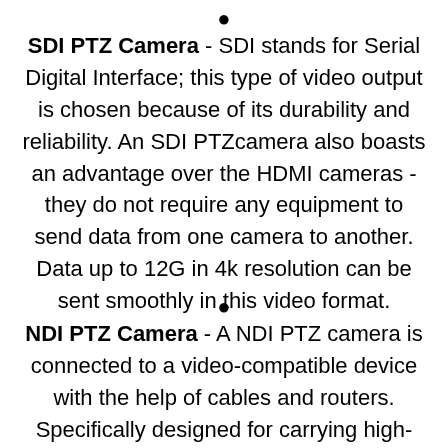• SDI PTZ Camera - SDI stands for Serial Digital Interface; this type of video output is chosen because of its durability and reliability. An SDI PTZcamera also boasts an advantage over the HDMI cameras - they do not require any equipment to send data from one camera to another. Data up to 12G in 4k resolution can be sent smoothly in this video format.
• NDI PTZ Camera - A NDI PTZ camera is connected to a video-compatible device with the help of cables and routers. Specifically designed for carrying high-resolution data without any potential latency